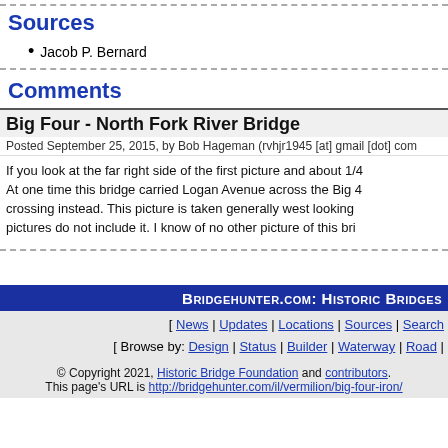Sources
Jacob P. Bernard
Comments
Big Four - North Fork River Bridge
Posted September 25, 2015, by Bob Hageman (rvhjr1945 [at] gmail [dot] com)
If you look at the far right side of the first picture and about 1/4... At one time this bridge carried Logan Avenue across the Big 4 crossing instead. This picture is taken generally west looking ... pictures do not include it. I know of no other picture of this bri...
Bridgehunter.com: Historic Bridges | News | Updates | Locations | Sources | Search | Browse by: Design | Status | Builder | Waterway | Road | © Copyright 2021, Historic Bridge Foundation and contributors. This page's URL is http://bridgehunter.com/il/vermilion/big-four-iron/